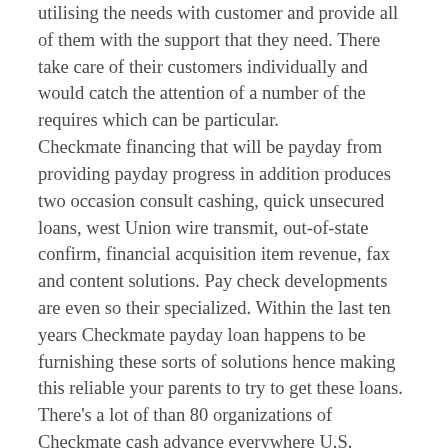utilising the needs with customer and provide all of them with the support that they need. There take care of their customers individually and would catch the attention of a number of the requires which can be particular. Checkmate financing that will be payday from providing payday progress in addition produces two occasion consult cashing, quick unsecured loans, west Union wire transmit, out-of-state confirm, financial acquisition item revenue, fax and content solutions. Pay check developments are even so their specialized. Within the last ten years Checkmate payday loan happens to be furnishing these sorts of solutions hence making this reliable your parents to try to get these loans. There's a lot of than 80 organizations of Checkmate cash advance everywhere U.S. Besides this Checkmate cash advance can also boat is a user of various agencies like Financial Assistance Centers of